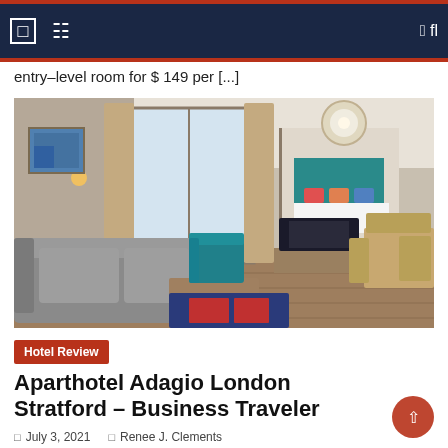navigation header with icons
entry-level room for $ 149 per [...]
[Figure (photo): Interior of a modern hotel apartment showing a living area with grey sofa, teal accent chair, wooden coffee table, TV, and a view into the bedroom with teal headboard and colourful pillows. Dining table with chairs on the right.]
Hotel Review
Aparthotel Adagio London Stratford – Business Traveler
July 3, 2021   Renee J. Clements